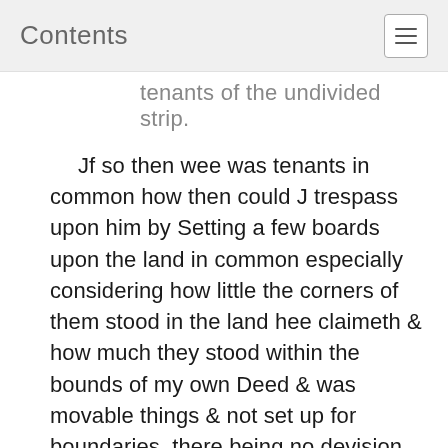Contents
tenants of the undivided strip.
Jf so then wee was tenants in common how then could J trespass upon him by Setting a few boards upon the land in common especially considering how little the corners of them stood in the land hee claimeth & how much they stood within the bounds of my own Deed & was movable things & not set up for boundaries, there being no devision as hee pleaded & indeauoured to proue — hee should haue Sued for a devision & could